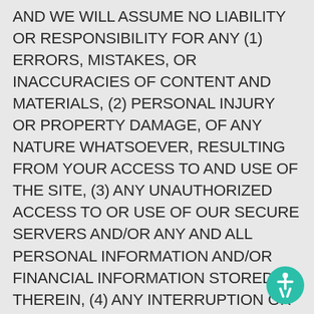AND WE WILL ASSUME NO LIABILITY OR RESPONSIBILITY FOR ANY (1) ERRORS, MISTAKES, OR INACCURACIES OF CONTENT AND MATERIALS, (2) PERSONAL INJURY OR PROPERTY DAMAGE, OF ANY NATURE WHATSOEVER, RESULTING FROM YOUR ACCESS TO AND USE OF THE SITE, (3) ANY UNAUTHORIZED ACCESS TO OR USE OF OUR SECURE SERVERS AND/OR ANY AND ALL PERSONAL INFORMATION AND/OR FINANCIAL INFORMATION STORED THEREIN, (4) ANY INTERRUPTION OR CESSATION OF TRANSMISSION TO OR FROM THE SITE, (5) ANY BUGS, VIRUSES, TROJAN HORSES, OR THE LIKE WHICH MAY BE TRANSMITTED TO OR THROUGH THE SITE BY ANY THIRD PARTY, AND/OR (6) ANY ERRORS OR OMISSIONS IN ANY CONTENT AND MATERIALS OR FOR ANY LOSS OR DAMAGE OF
[Figure (other): Accessibility icon - circular teal/green button with white human figure symbol (wheelchair accessibility icon)]